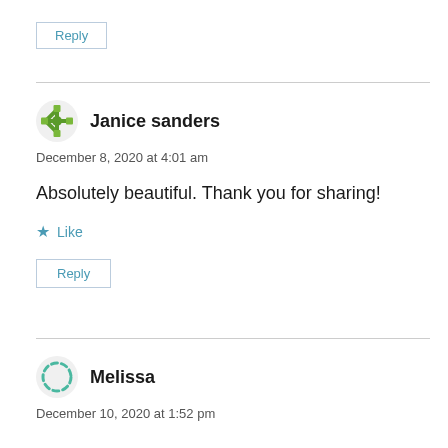Reply
Janice sanders
December 8, 2020 at 4:01 am
Absolutely beautiful. Thank you for sharing!
Like
Reply
Melissa
December 10, 2020 at 1:52 pm